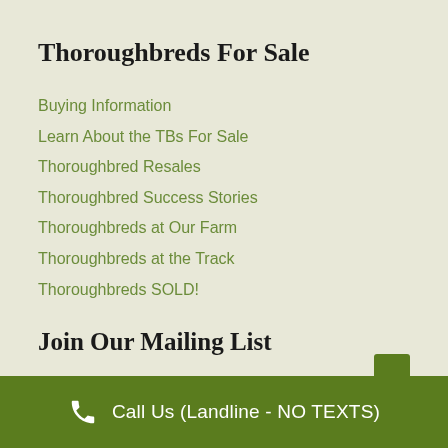Thoroughbreds For Sale
Buying Information
Learn About the TBs For Sale
Thoroughbred Resales
Thoroughbred Success Stories
Thoroughbreds at Our Farm
Thoroughbreds at the Track
Thoroughbreds SOLD!
Join Our Mailing List
Call Us (Landline - NO TEXTS)